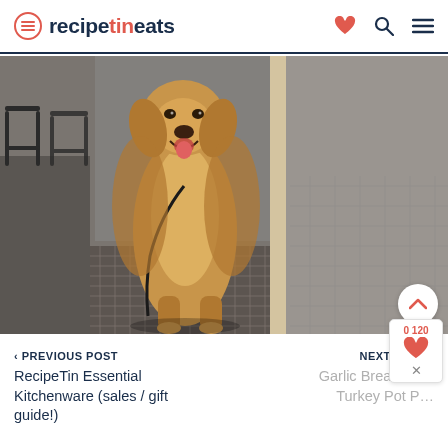recipetineats
[Figure (photo): A golden retriever dog standing in a doorway at the entrance of what appears to be a cafe or restaurant, standing on a tiled mat, with a leash, looking happy with mouth open. Black metal chairs visible inside.]
‹ PREVIOUS POST
RecipeTin Essential Kitchenware (sales / gift guide!)
NEXT POST ›
Garlic Bread Le… Turkey Pot P…